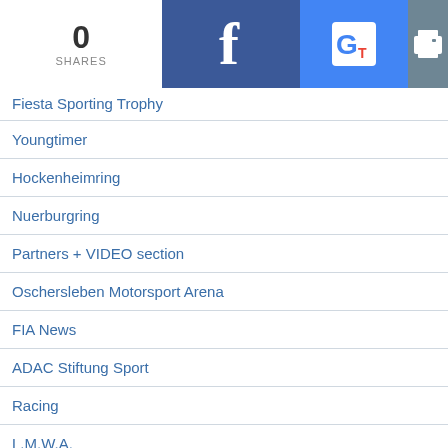0 SHARES
Fiesta Sporting Trophy
Youngtimer
Hockenheimring
Nuerburgring
Partners + VIDEO section
Oschersleben Motorsport Arena
FIA News
ADAC Stiftung Sport
Racing
L.M.W.A.
BLOGS
Archiv
F1H2o
UIM Series
UAE Powerboats-Motosurf
AquaX a.o -IWWF Wakeboard
AUTO GP